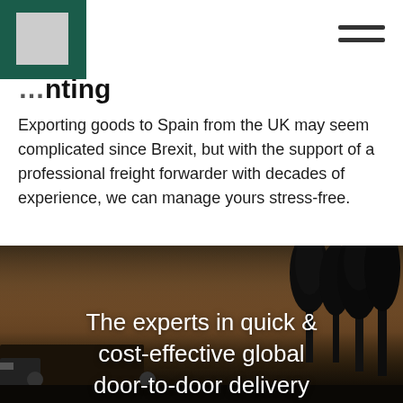[Figure (logo): Dark green rectangle navigation bar with grey square logo placeholder on left and hamburger menu icon on right]
…nting
Exporting goods to Spain from the UK may seem complicated since Brexit, but with the support of a professional freight forwarder with decades of experience, we can manage yours stress-free.
[Figure (photo): Dark atmospheric photo of a truck/freight vehicle at dusk with tree silhouettes on the right side, overlaid with white text reading 'The experts in quick & cost-effective global door-to-door delivery']
The experts in quick & cost-effective global door-to-door delivery